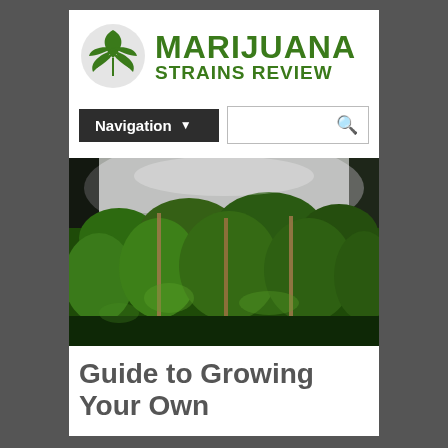[Figure (logo): Marijuana Strains Review logo with cannabis leaf icon and green distressed text]
[Figure (other): Navigation bar with dark 'Navigation' dropdown button and search box with magnifier icon]
[Figure (photo): Indoor cannabis grow room with many plants under grow lights, bamboo stakes visible]
Guide to Growing Your Own